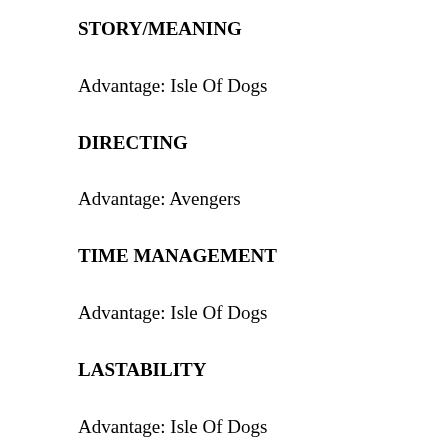STORY/MEANING
Advantage:  Isle Of Dogs
DIRECTING
Advantage:  Avengers
TIME MANAGEMENT
Advantage:  Isle Of Dogs
LASTABILITY
Advantage:  Isle Of Dogs